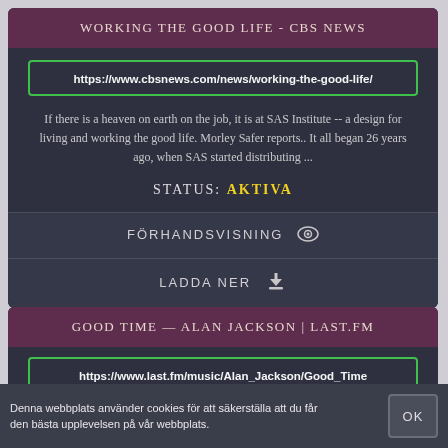WORKING THE GOOD LIFE - CBS NEWS
https://www.cbsnews.com/news/working-the-good-life/
If there is a heaven on earth on the job, it is at SAS Institute -- a design for living and working the good life. Morley Safer reports.. It all began 26 years ago, when SAS started distributing ...
STATUS: AKTIVA
FÖRHANDSVISNING
LADDA NER
GOOD TIME — ALAN JACKSON | LAST.FM
https://www.last.fm/music/Alan_Jackson/Good_Time
Denna webbplats använder cookies för att säkerställa att du får den bästa upplevelsen på vår webbplats.